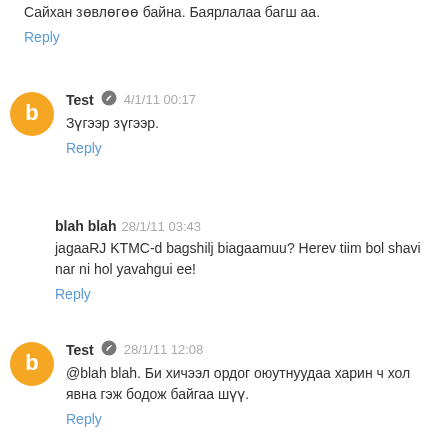Сайхан зөвлөгөө байна. Баярлалаа багш аа.
Reply
Test 4/1/11 00:17
Зүгээр зүгээр.
Reply
blah blah 28/1/11 03:43
jagaaRJ KTMC-d bagshilj biagaamuu? Herev tiim bol shavi nar ni hol yavahgui ee!
Reply
Test 28/1/11 12:08
@blah blah. Би хичээл ордог оюутнуудаа харин ч хол явна гэж бодож байгаа шүү.
Reply